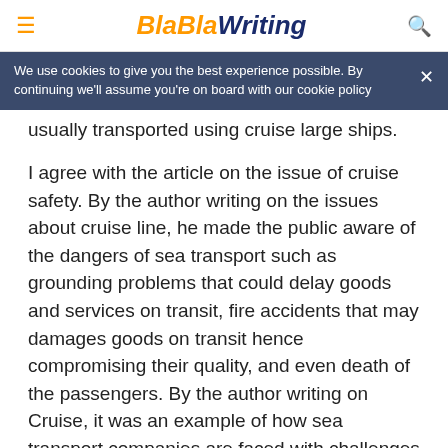BlaBlaWriting
We use cookies to give you the best experience possible. By continuing we'll assume you're on board with our cookie policy
usually transported using cruise large ships.
I agree with the article on the issue of cruise safety. By the author writing on the issues about cruise line, he made the public aware of the dangers of sea transport such as grounding problems that could delay goods and services on transit, fire accidents that may damages goods on transit hence compromising their quality, and even death of the passengers. By the author writing on Cruise, it was an example of how sea transport companies are faced with challenges and how they have delayed actions to improve on the transport resulting in consecutive accidents that endanger people’s life. It was important for the author to write about these issues as sea transport forms the most